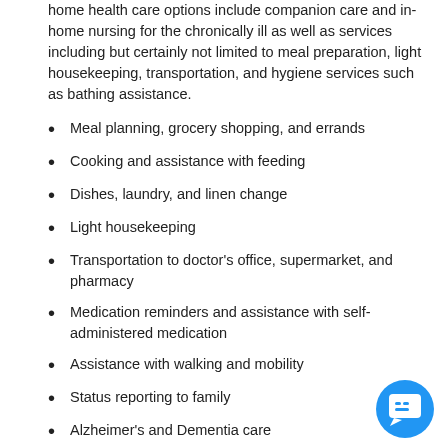home health care options include companion care and in-home nursing for the chronically ill as well as services including but certainly not limited to meal preparation, light housekeeping, transportation, and hygiene services such as bathing assistance.
Meal planning, grocery shopping, and errands
Cooking and assistance with feeding
Dishes, laundry, and linen change
Light housekeeping
Transportation to doctor's office, supermarket, and pharmacy
Medication reminders and assistance with self-administered medication
Assistance with walking and mobility
Status reporting to family
Alzheimer's and Dementia care
Gardening, games, crafts, reading, etc.